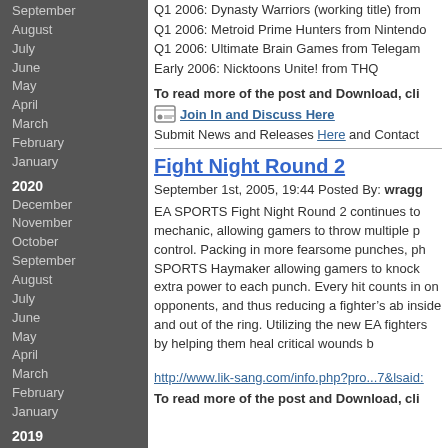September
August
July
June
May
April
March
February
January
2020
December
November
October
September
August
July
June
May
April
March
February
January
2019
December
November
October
September
August
July
June
May
April
March
February
Q1 2006: Dynasty Warriors (working title) from
Q1 2006: Metroid Prime Hunters from Nintendo
Q1 2006: Ultimate Brain Games from Telegam
Early 2006: Nicktoons Unite! from THQ
To read more of the post and Download, cli
Join In and Discuss Here
Submit News and Releases Here and Contact
Fight Night Round 2
September 1st, 2005, 19:44 Posted By: wragg
EA SPORTS Fight Night Round 2 continues to mechanic, allowing gamers to throw multiple p control. Packing in more fearsome punches, ph SPORTS Haymaker allowing gamers to knock extra power to each punch. Every hit counts in on opponents, and thus reducing a fighter’s ab inside and out of the ring. Utilizing the new EA fighters by helping them heal critical wounds b
http://www.lik-sang.com/info.php?pro...7&lsaid:
To read more of the post and Download, cli